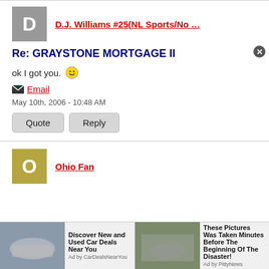D.J. Williams #25(NL Sports/No …
Re: GRAYSTONE MORTGAGE II
ok I got you. 😊
Email
May 10th, 2006 - 10:48 AM
Quote  Reply
Ohio Fan
Discover New and Used Car Deals Near You
Ad by CarDealsNearYou
These Pictures Was Taken Minutes Before The Beginning Of The Disaster!
Ad by PittyNews